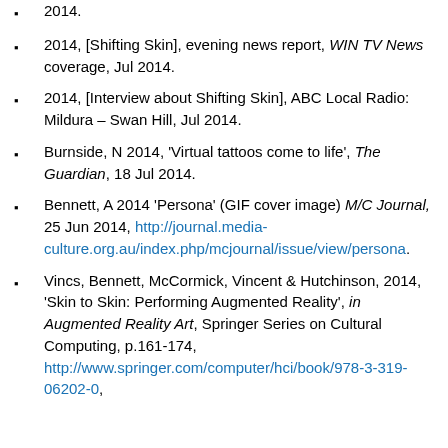2014.
2014, [Shifting Skin], evening news report, WIN TV News coverage, Jul 2014.
2014, [Interview about Shifting Skin], ABC Local Radio: Mildura – Swan Hill, Jul 2014.
Burnside, N 2014, 'Virtual tattoos come to life', The Guardian, 18 Jul 2014.
Bennett, A 2014 'Persona' (GIF cover image) M/C Journal, 25 Jun 2014, http://journal.media-culture.org.au/index.php/mcjournal/issue/view/persona.
Vincs, Bennett, McCormick, Vincent & Hutchinson, 2014, 'Skin to Skin: Performing Augmented Reality', in Augmented Reality Art, Springer Series on Cultural Computing, p.161-174, http://www.springer.com/computer/hci/book/978-3-319-06202-0,